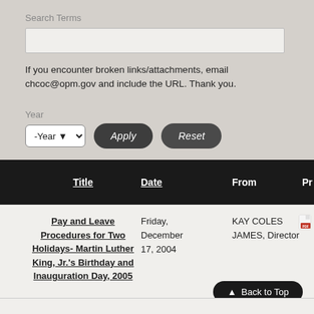Search Terms
If you encounter broken links/attachments, email chcoc@opm.gov and include the URL. Thank you.
Year
| Title | Date | From | Pr |
| --- | --- | --- | --- |
| Pay and Leave Procedures for Two Holidays- Martin Luther King, Jr.'s Birthday and Inauguration Day, 2005 | Friday, December 17, 2004 | KAY COLES JAMES, Director |  |